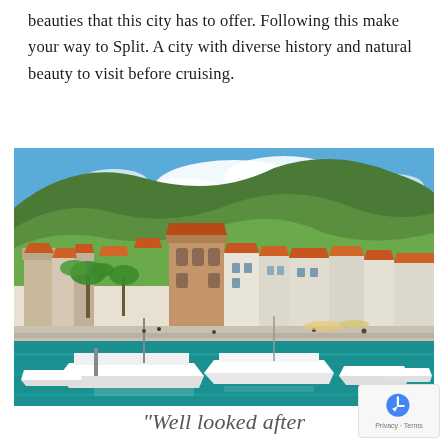beauties that this city has to offer. Following this make your way to Split. A city with diverse history and natural beauty to visit before cruising.
[Figure (photo): Aerial/waterfront view of a coastal Croatian town (likely Vis or similar Dalmatian island town) with orange-roofed buildings, palm trees, and boats moored in a clear turquoise harbour, with green forested hills in the background under a blue sky with clouds.]
"Well looked after